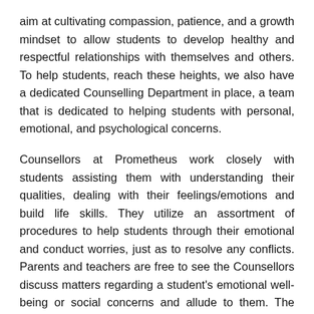aim at cultivating compassion, patience, and a growth mindset to allow students to develop healthy and respectful relationships with themselves and others. To help students, reach these heights, we also have a dedicated Counselling Department in place, a team that is dedicated to helping students with personal, emotional, and psychological concerns.
Counsellors at Prometheus work closely with students assisting them with understanding their qualities, dealing with their feelings/emotions and build life skills. They utilize an assortment of procedures to help students through their emotional and conduct worries, just as to resolve any conflicts. Parents and teachers are free to see the Counsellors discuss matters regarding a student's emotional well-being or social concerns and allude to them. The school offers free Counselling services to students enrolled at Prometheus School. At Prometheus, we encourage students to avail the Counselling Service